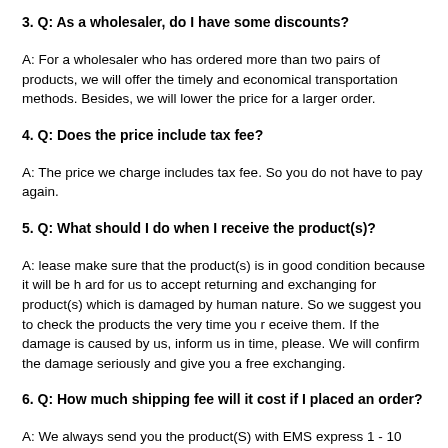3. Q: As a wholesaler, do I have some discounts?
A: For a wholesaler who has ordered more than two pairs of products, we will offer the timely and economical transportation methods. Besides, we will lower the price for a larger order.
4. Q: Does the price include tax fee?
A: The price we charge includes tax fee. So you do not have to pay again.
5. Q: What should I do when I receive the product(s)?
A: lease make sure that the product(s) is in good condition because it will be hard for us to accept returning and exchanging for product(s) which is damaged by human nature. So we suggest you to check the products the very time you receive them. If the damage is caused by us, inform us in time, please. We will confirm the damage seriously and give you a free exchanging.
6. Q: How much shipping fee will it cost if I placed an order?
A: We always send you the product(S) with EMS express 1 - 10 jersey is $20 s